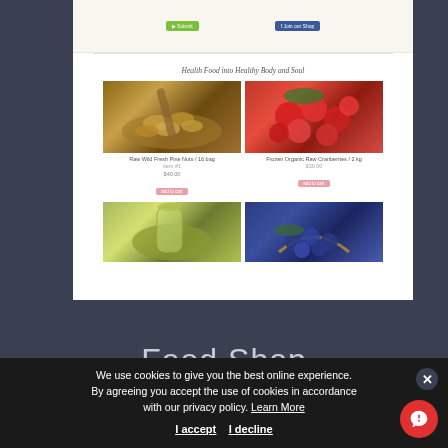[Figure (screenshot): Website screenshot of a food shop page showing a health food store with product grid. Heading reads 'Health Food into Healthy Body and Soul'. Products include pine nuts, organic raspberries, herbal oil, and blueberries with prices and buy buttons.]
Food Shop
We use cookies to give you the best online experience. By agreeing you accept the use of cookies in accordance with our privacy policy. Learn More
I accept  I decline